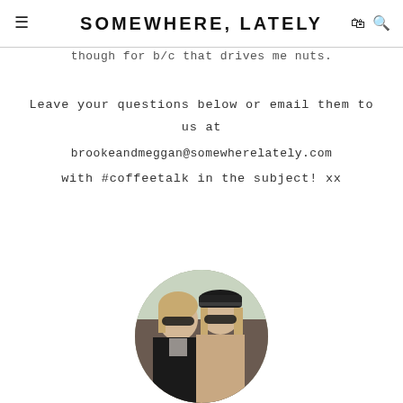SOMEWHERE, LATELY
though for b/c that drives me nuts.
Leave your questions below or email them to us at
brookeandmeggan@somewherelately.com
with #coffeetalk in the subject! xx
[Figure (photo): Circular cropped photo of two young women wearing sunglasses, one with a dark newsboy cap, posing together outdoors.]